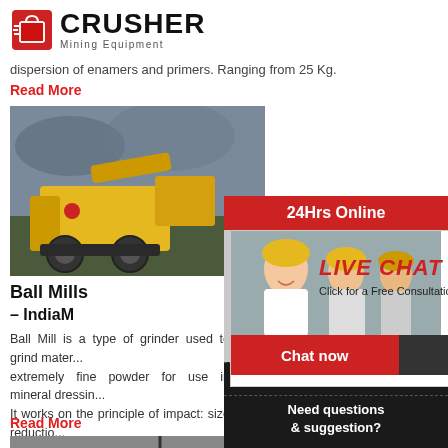[Figure (logo): Crusher Mining Equipment logo with red shopping cart icon and bold CRUSHER text]
dispersion of enamers and primers. Ranging from 25 Kg.
Read More
[Figure (photo): Yellow mining crusher machine outdoors with dark cloudy sky]
Ball Mills – IndiaM
Ball Mill is a type of grinder used to grind mater... extremely fine powder for use in mineral dressin... It works on the principle of impact: size reductio... impact as the balls drop from near the top of the...
Read More
[Figure (photo): Black coal or aggregate material pile with aerial wire and pole in background]
[Figure (infographic): Live Chat popup overlay with workers in hard hats background, LIVE CHAT heading in red italic, Click for a Free Consultation text, Chat now and Chat later buttons, close X button]
[Figure (photo): 24Hrs Online sidebar with lady customer service representative wearing headset]
Need questions & suggestion?
Chat Now
Enquiry
limingjlmofen@sina.com